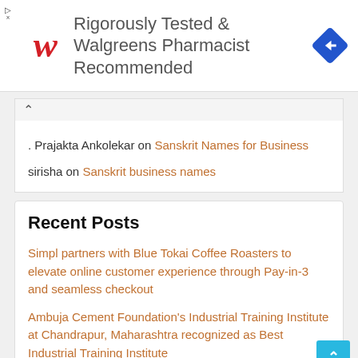[Figure (advertisement): Walgreens ad banner: Walgreens logo on left, text 'Rigorously Tested & Walgreens Pharmacist Recommended', blue diamond navigation icon on right]
Prajakta Ankolekar on Sanskrit Names for Business
sirisha on Sanskrit business names
Recent Posts
Simpl partners with Blue Tokai Coffee Roasters to elevate online customer experience through Pay-in-3 and seamless checkout
Ambuja Cement Foundation's Industrial Training Institute at Chandrapur, Maharashtra recognized as Best Industrial Training Institute